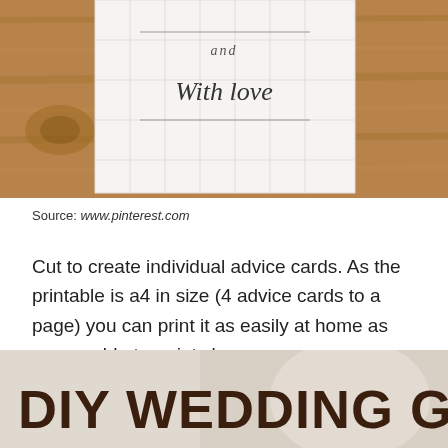[Figure (photo): A wedding advice card with calligraphy text 'and With love' on a white card, placed on a rustic wooden background.]
Source: www.pinterest.com
Cut to create individual advice cards. As the printable is a4 in size (4 advice cards to a page) you can print it as easily at home as you would at a print shop.
[Figure (photo): DIY Wedding Game image with large bold dark brown text on a light background.]